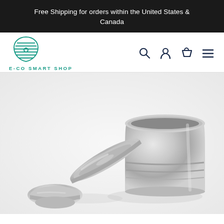Free Shipping for orders within the United States & Canada
[Figure (logo): E-CO Smart Shop beehive logo in teal/green with text E-CO SMART SHOP below]
[Figure (photo): Stainless steel reusable coffee capsule/pod components on light gray background - showing a cylindrical cup body, a flat disc lid leaning against it, and a tamper tool in the foreground]